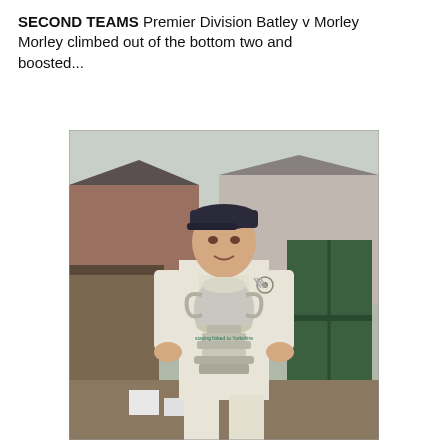SECOND TEAMS Premier Division Batley v Morley Morley climbed out of the bottom two and boosted...
[Figure (photo): A man in cricket whites and a dark cap holding a large silver trophy cup, standing outdoors in front of brick buildings and a green gate. His shirt has a 'Burrows' sponsor logo.]